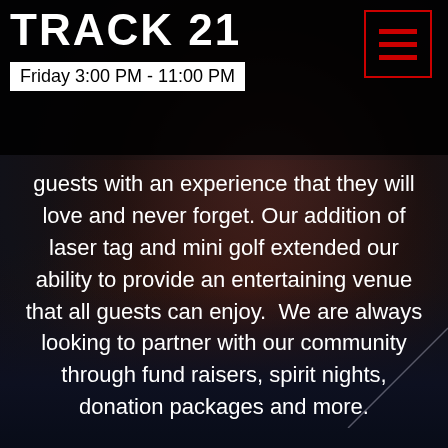TRACK 21
Friday 3:00 PM - 11:00 PM
guests with an experience that they will love and never forget. Our addition of laser tag and mini golf extended our ability to provide an entertaining venue that all guests can enjoy.  We are always looking to partner with our community through fund raisers, spirit nights, donation packages and more.